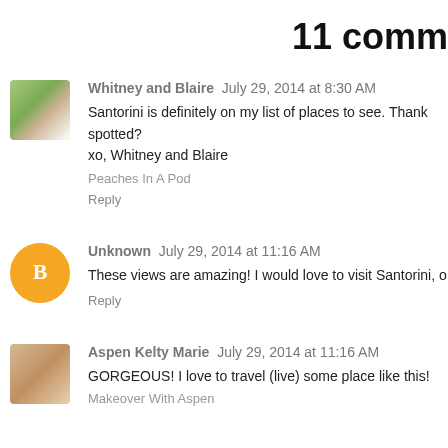11 comm
Whitney and Blaire  July 29, 2014 at 8:30 AM
Santorini is definitely on my list of places to see. Thank spotted?
xo, Whitney and Blaire
Peaches In A Pod
Reply
Unknown  July 29, 2014 at 11:16 AM
These views are amazing! I would love to visit Santorini, o
Reply
Aspen Kelty Marie  July 29, 2014 at 11:16 AM
GORGEOUS! I love to travel (live) some place like this!
Makeover With Aspen